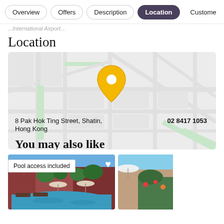Overview | Offers | Description | Location | Customer
...International Airport...
Location
[Figure (map): Street map showing location at 8 Pak Hok Ting Street, Shatin, Hong Kong with a yellow map pin marker in the center]
8 Pak Hok Ting Street, Shatin, Hong Kong
02 8417 1053
You may also like
[Figure (photo): Hotel pool area with blue water, lounge chairs, umbrellas and blue sky]
[Figure (photo): Hotel exterior or garden area partially visible]
Pool access included